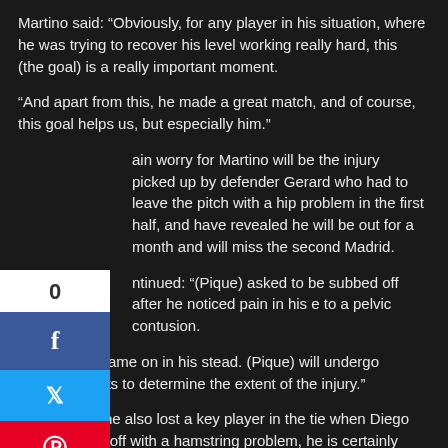Martino said: “Obviously, for any player in his situation, where he was trying to recover his level working really hard, this (the goal) is a really important moment.
“And apart from this, he made a great match, and of course, this goal helps us, but especially him.”
ain worry for Martino will be the injury picked up by defender Gerard who had to leave the pitch with a hip problem in the first half, and have revealed he will be out for a month and will miss the second Madrid.
ntinued: “(Pique) asked to be subbed off after he noticed pain in his e to a pelvic contusion.
Marc Bartra came on in his stead. (Pique) will undergo additional tests to determine the extent of the injury.”
Diego Simeone also lost a key player in the tie when Diego Costa limped off with a hamstring problem, he is certainly expected to miss the weekend’s game with Villarreal but could recover in time to play at the Vicente Calderon next Wednesday.
Atletico sit at 3.19 in the 1X2 betting to pick up a victory on April